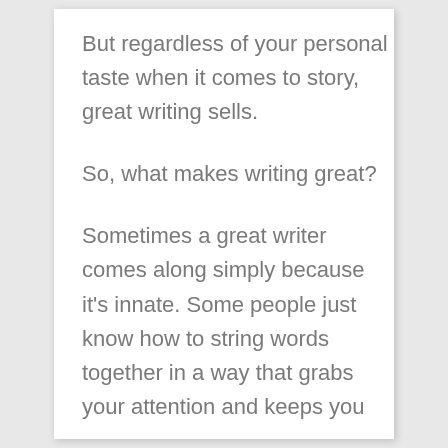But regardless of your personal taste when it comes to story, great writing sells.
So, what makes writing great?
Sometimes a great writer comes along simply because it's innate. Some people just know how to string words together in a way that grabs your attention and keeps you